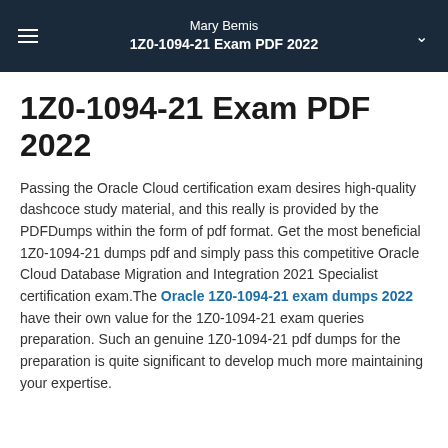Mary Bemis
1Z0-1094-21 Exam PDF 2022
1Z0-1094-21 Exam PDF 2022
Passing the Oracle Cloud certification exam desires high-quality dashcoce study material, and this really is provided by the PDFDumps within the form of pdf format. Get the most beneficial 1Z0-1094-21 dumps pdf and simply pass this competitive Oracle Cloud Database Migration and Integration 2021 Specialist certification exam.The Oracle 1Z0-1094-21 exam dumps 2022 have their own value for the 1Z0-1094-21 exam queries preparation. Such an genuine 1Z0-1094-21 pdf dumps for the preparation is quite significant to develop much more maintaining your expertise.